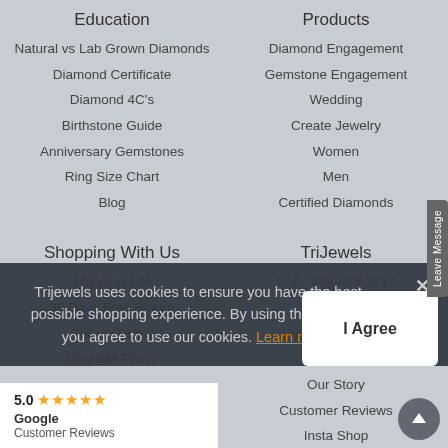Education
Natural vs Lab Grown Diamonds
Diamond Certificate
Diamond 4C's
Birthstone Guide
Anniversary Gemstones
Ring Size Chart
Blog
Products
Diamond Engagement
Gemstone Engagement
Wedding
Create Jewelry
Women
Men
Certified Diamonds
Shopping With Us
Shipping Info
30 Days Free Return
Privacy Policy
Upgrade Policy
TriJewels
Call : 888-838-2837
Contact Us
Live Chat (Offline)
FAQ
Our Story
Customer Reviews
Insta Shop
Trijewels uses cookies to ensure you have the best possible shopping experience. By using this website you agree to use our cookies. Learn more.
I Agree
5.0 ★★★★★ Google Customer Reviews